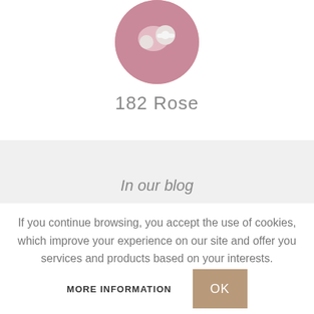[Figure (photo): Circular product image showing a rose-colored item (earbuds/headphones) on a mauve/pink background, partially cropped at top]
182 Rose
[Figure (photo): Gray band section with 'In our blog' heading partially visible]
In our blog
If you continue browsing, you accept the use of cookies, which improve your experience on our site and offer you services and products based on your interests.
MORE INFORMATION
OK